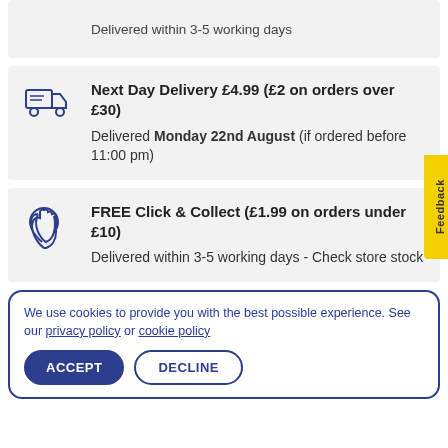Delivered within 3-5 working days
Next Day Delivery £4.99 (£2 on orders over £30)
Delivered Monday 22nd August (if ordered before 11:00 pm)
FREE Click & Collect (£1.99 on orders under £10)
Delivered within 3-5 working days - Check store stock
We use cookies to provide you with the best possible experience. See our privacy policy or cookie policy
ACCEPT
DECLINE